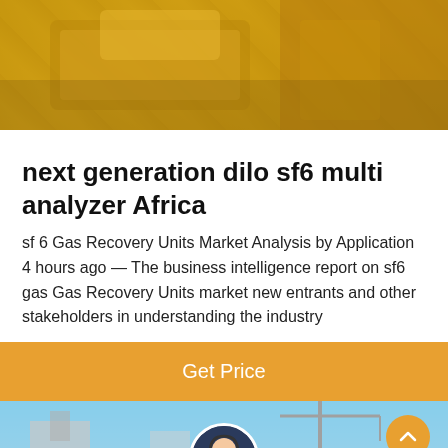[Figure (photo): Yellow industrial/construction equipment (excavator or similar heavy machinery) photographed close up]
next generation dilo sf6 multi analyzer Africa
sf 6 Gas Recovery Units Market Analysis by Application 4 hours ago — The business intelligence report on sf6 gas Gas Recovery Units market new entrants and other stakeholders in understanding the industry
[Figure (other): Orange button labeled Get Price]
[Figure (photo): Industrial building/facility with cranes and structures against a blue sky, with a customer service representative avatar and chat bar overlay at the bottom]
Leave Message
Chat Online